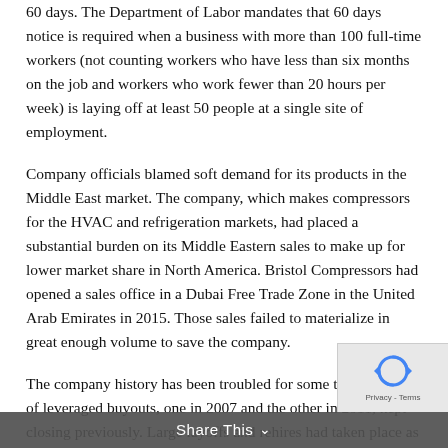60 days. The Department of Labor mandates that 60 days notice is required when a business with more than 100 full-time workers (not counting workers who have less than six months on the job and workers who work fewer than 20 hours per week) is laying off at least 50 people at a single site of employment.
Company officials blamed soft demand for its products in the Middle East market. The company, which makes compressors for the HVAC and refrigeration markets, had placed a substantial burden on its Middle Eastern sales to make up for lower market share in North America. Bristol Compressors had opened a sales office in a Dubai Free Trade Zone in the United Arab Emirates in 2015. Those sales failed to materialize in great enough volume to save the company.
The company history has been troubled for some time. A pair of leveraged buyouts, one in 2007 and the other in 2011, kept closing previously. Large layoffs and rehires had taken place as sales volume rose and declined over the last decade-plus.